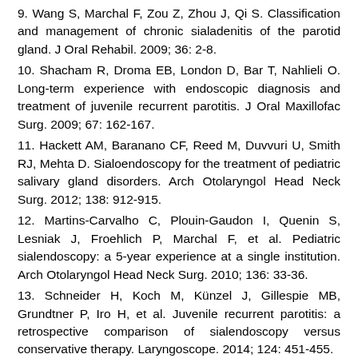9. Wang S, Marchal F, Zou Z, Zhou J, Qi S. Classification and management of chronic sialadenitis of the parotid gland. J Oral Rehabil. 2009; 36: 2-8.
10. Shacham R, Droma EB, London D, Bar T, Nahlieli O. Long-term experience with endoscopic diagnosis and treatment of juvenile recurrent parotitis. J Oral Maxillofac Surg. 2009; 67: 162-167.
11. Hackett AM, Baranano CF, Reed M, Duvvuri U, Smith RJ, Mehta D. Sialoendoscopy for the treatment of pediatric salivary gland disorders. Arch Otolaryngol Head Neck Surg. 2012; 138: 912-915.
12. Martins-Carvalho C, Plouin-Gaudon I, Quenin S, Lesniak J, Froehlich P, Marchal F, et al. Pediatric sialendoscopy: a 5-year experience at a single institution. Arch Otolaryngol Head Neck Surg. 2010; 136: 33-36.
13. Schneider H, Koch M, Künzel J, Gillespie MB, Grundtner P, Iro H, et al. Juvenile recurrent parotitis: a retrospective comparison of sialendoscopy versus conservative therapy. Laryngoscope. 2014; 124: 451-455.
14. Konstantinidis I, Chatziavramidis A, Tsakiropoulos E,